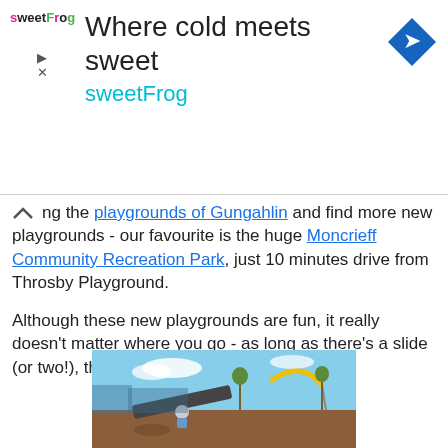[Figure (screenshot): sweetFrog advertisement banner with logo, tagline 'Where cold meets sweet', brand name 'sweetFrog', and a blue navigation arrow icon]
ng the playgrounds of Gungahlin and find more new playgrounds - our favourite is the huge Moncrieff Community Recreation Park, just 10 minutes drive from Throsby Playground.
Although these new playgrounds are fun, it really doesn't matter where you go - as long as there's a slide (or two!), the kids will enjoy every minute...
[Figure (photo): Outdoor playground photo showing a child sliding down a large slide at Moncrieff Community Recreation Park with play equipment, mulch ground cover, young trees, and a yellow curved slide structure visible in the background under a blue sky]